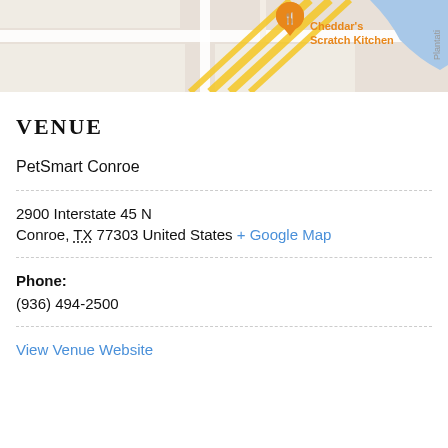[Figure (map): Google Maps screenshot showing PetSmart Conroe area with Cheddar's Scratch Kitchen marker visible, roads and blue water feature]
VENUE
PetSmart Conroe
2900 Interstate 45 N
Conroe, TX 77303 United States + Google Map
Phone:
(936) 494-2500
View Venue Website